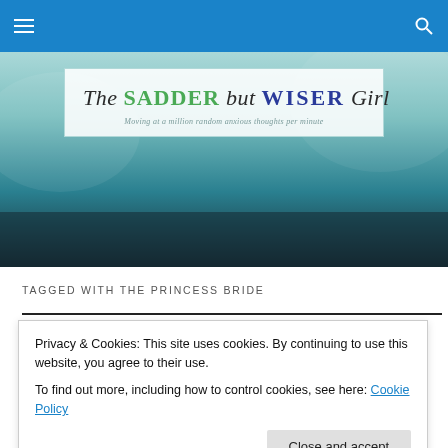The Sadder but Wiser Girl — Moving at a million random anxious thoughts per minute
[Figure (illustration): Blue navigation bar with hamburger menu icon on left and search icon on right, followed by a decorative teal/dark teal banner with a white logo box containing the blog title 'The Sadder but Wiser Girl' and tagline 'Moving at a million random anxious thoughts per minute']
TAGGED WITH THE PRINCESS BRIDE
Privacy & Cookies: This site uses cookies. By continuing to use this website, you agree to their use.
To find out more, including how to control cookies, see here: Cookie Policy
was actually told it was cheaper to write a check to pay a